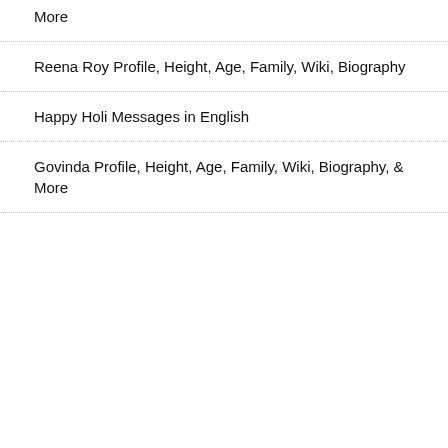More
Reena Roy Profile, Height, Age, Family, Wiki, Biography
Happy Holi Messages in English
Govinda Profile, Height, Age, Family, Wiki, Biography, & More